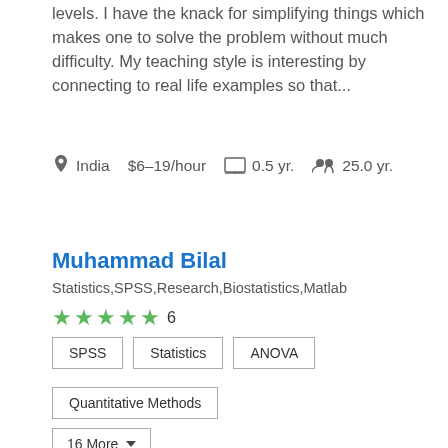levels. I have the knack for simplifying things which makes one to solve the problem without much difficulty. My teaching style is interesting by connecting to real life examples so that...
India  $6–19/hour  0.5 yr.  25.0 yr.
Muhammad Bilal
Statistics,SPSS,Research,Biostatistics,Matlab
★★★★★ 6
SPSS
Statistics
ANOVA
Quantitative Methods
16 More